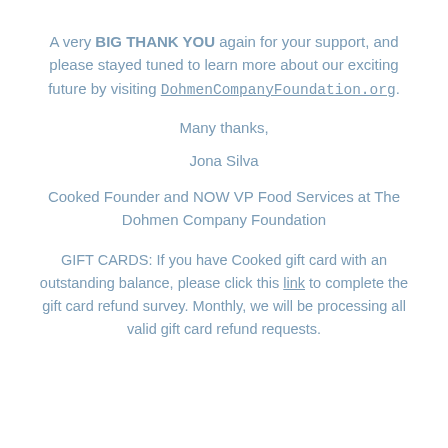A very BIG THANK YOU again for your support, and please stayed tuned to learn more about our exciting future by visiting DohmenCompanyFoundation.org.
Many thanks,
Jona Silva
Cooked Founder and NOW VP Food Services at The Dohmen Company Foundation
GIFT CARDS: If you have Cooked gift card with an outstanding balance, please click this link to complete the gift card refund survey. Monthly, we will be processing all valid gift card refund requests.